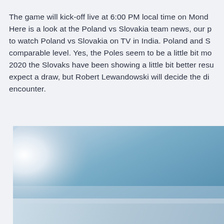The game will kick-off live at 6:00 PM local time on Mond... Here is a look at the Poland vs Slovakia team news, our pr... to watch Poland vs Slovakia on TV in India. Poland and S... comparable level. Yes, the Poles seem to be a little bit mo... 2020 the Slovaks have been showing a little bit better resu... expect a draw, but Robert Lewandowski will decide the di... encounter.
[Figure (photo): A gradient image showing a bright white-to-blue sky, partially visible, appearing to be a sports or outdoor scene.]